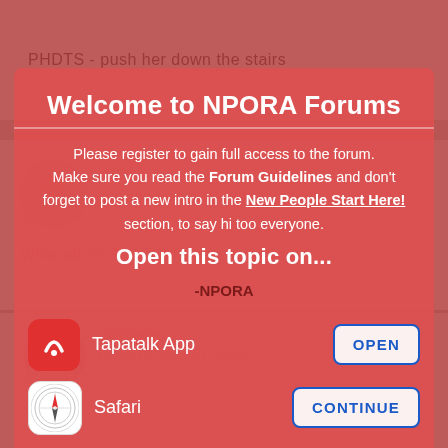PHDTS - push her down the stairs
flnl
Posted August 31, 2008
What about POHO? Is it an acronym?
dagwoo...
Posted August 31, 2008
Welcome to NPORA Forums
Please register to gain full access to the forum.
Make sure you read the Forum Guidelines and don't forget to post a new intro in the New People Start Here! section, to say hi too everyone.
-NPORA
Open this topic on...
Tapatalk App
OPEN
Safari
CONTINUE